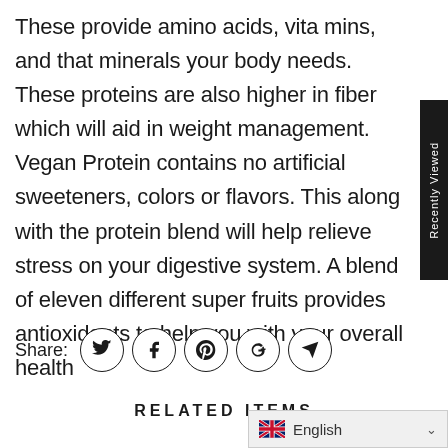These provide amino acids, vita mins, and that minerals your body needs. These proteins are also higher in fiber which will aid in weight management. Vegan Protein contains no artificial sweeteners, colors or flavors. This along with the protein blend will help relieve stress on your digestive system. A blend of eleven different super fruits provides antioxidants to help you with your overall health
Share:
RELATED ITEMS